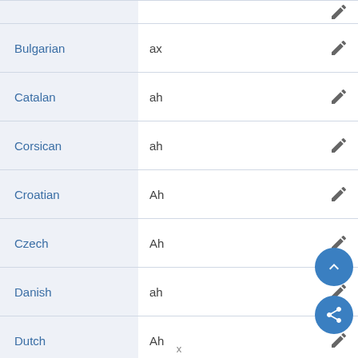| Language | Value | Action |
| --- | --- | --- |
| Bulgarian | ax | edit |
| Catalan | ah | edit |
| Corsican | ah | edit |
| Croatian | Ah | edit |
| Czech | Ah | edit |
| Danish | ah | edit |
| Dutch | Ah | edit |